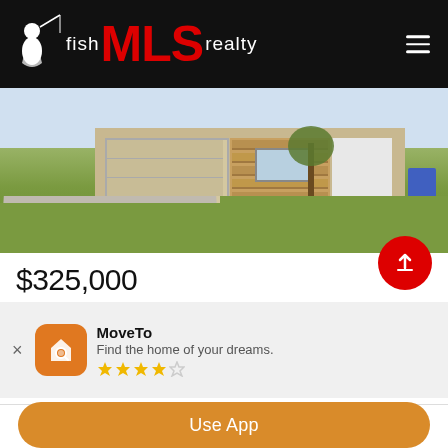fish MLS realty
[Figure (photo): Exterior photo of a single-story house with a two-car garage, brick facade, concrete driveway, and green lawn]
$325,000
3 Beds · 2 Baths · 6252090 MLS · Courtesy of RE/MAX Pref...
Wonderful opportunity to own! Maintenance free exterior. Concrete driveway...
280 Ely Street NE, Fridley
MoveTo
Find the home of your dreams.
Use App